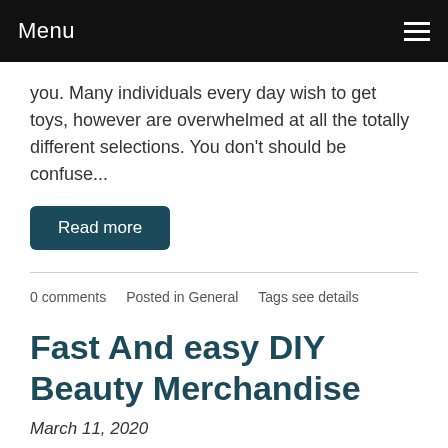Menu
you. Many individuals every day wish to get toys, however are overwhelmed at all the totally different selections. You don't should be confuse...
Read more
0 comments   Posted in General   Tags see details
Fast And easy DIY Beauty Merchandise
March 11, 2020